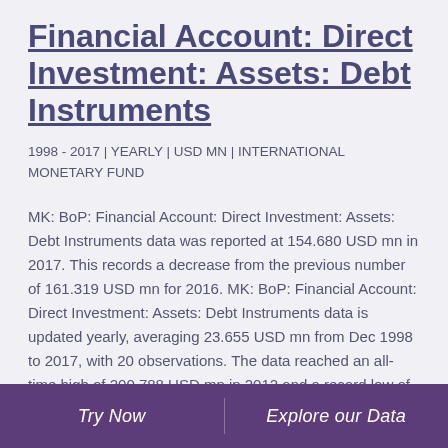Financial Account: Direct Investment: Assets: Debt Instruments
1998 - 2017 | YEARLY | USD MN | INTERNATIONAL MONETARY FUND
MK: BoP: Financial Account: Direct Investment: Assets: Debt Instruments data was reported at 154.680 USD mn in 2017. This records a decrease from the previous number of 161.319 USD mn for 2016. MK: BoP: Financial Account: Direct Investment: Assets: Debt Instruments data is updated yearly, averaging 23.655 USD mn from Dec 1998 to 2017, with 20 observations. The data reached an all-time high of 200.788 USD mn in 2012 and a record low of -244.571 USD mn in 2014. MK: BoP: Financial Account: Direct Investment: Assets: Debt Instruments
Try Now   Explore our Data